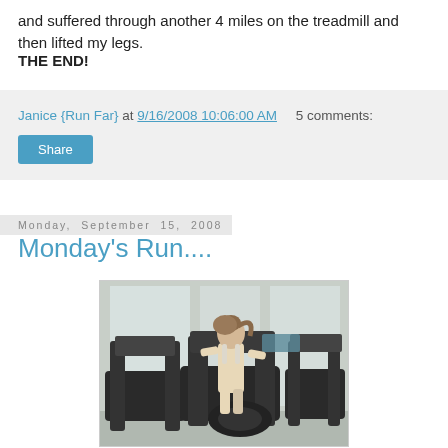and suffered through another 4 miles on the treadmill and then lifted my legs.
THE END!
Janice {Run Far} at 9/16/2008 10:06:00 AM    5 comments:
Share
Monday, September 15, 2008
Monday's Run....
[Figure (photo): Woman on a treadmill in a gym, seen from behind, wearing a white tank top with ponytail hair, surrounded by gym equipment and windows]